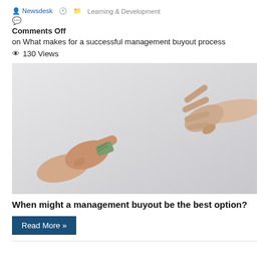Newsdesk  |  Learning & Development
Comments Off
on What makes for a successful management buyout process
130 Views
[Figure (photo): Two hands exchanging a roll of banknotes against a light grey background — one hand passing money to another reaching hand.]
When might a management buyout be the best option?
Read More »